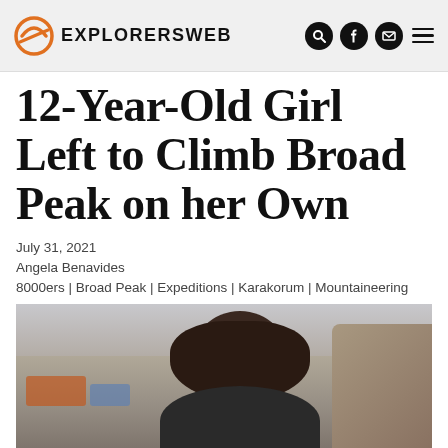EXPLORERSWEB
12-Year-Old Girl Left to Climb Broad Peak on her Own
July 31, 2021
Angela Benavides
8000ers | Broad Peak | Expeditions | Karakorum | Mountaineering
[Figure (photo): Close-up photo of a young girl with dark hair at a mountaineering base camp, rocky terrain and tents visible in background]